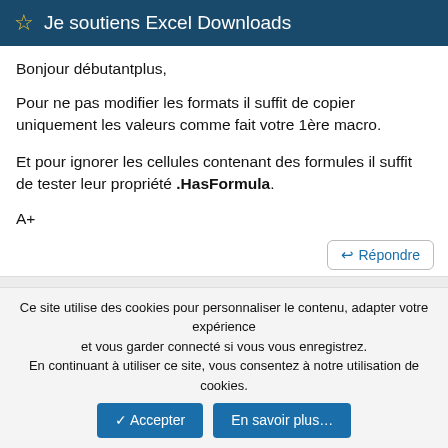Je soutiens Excel Downloads
Bonjour débutantplus,
Pour ne pas modifier les formats il suffit de copier uniquement les valeurs comme fait votre 1ère macro.
Et pour ignorer les cellules contenant des formules il suffit de tester leur propriété .HasFormula.
A+
Répondre
0
Ce site utilise des cookies pour personnaliser le contenu, adapter votre expérience et vous garder connecté si vous vous enregistrez. En continuant à utiliser ce site, vous consentez à notre utilisation de cookies.